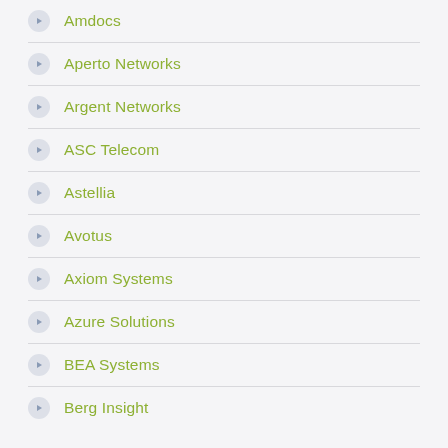Amdocs
Aperto Networks
Argent Networks
ASC Telecom
Astellia
Avotus
Axiom Systems
Azure Solutions
BEA Systems
Berg Insight